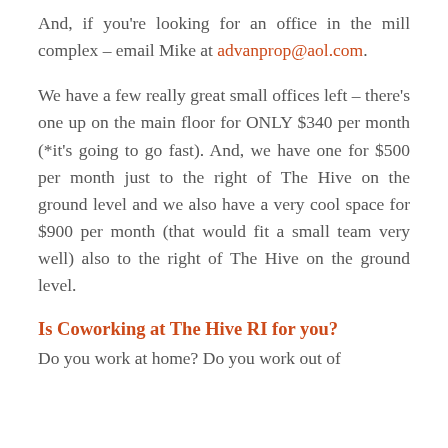And, if you're looking for an office in the mill complex – email Mike at advanprop@aol.com.
We have a few really great small offices left – there's one up on the main floor for ONLY $340 per month (*it's going to go fast). And, we have one for $500 per month just to the right of The Hive on the ground level and we also have a very cool space for $900 per month (that would fit a small team very well) also to the right of The Hive on the ground level.
Is Coworking at The Hive RI for you?
Do you work at home? Do you work out of